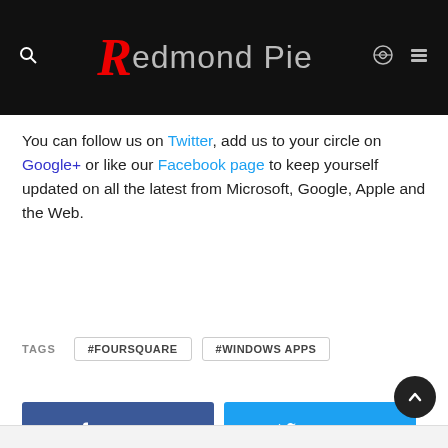Redmond Pie
You can follow us on Twitter, add us to your circle on Google+ or like our Facebook page to keep yourself updated on all the latest from Microsoft, Google, Apple and the Web.
TAGS  #FOURSQUARE  #WINDOWS APPS
[Figure (screenshot): Four social sharing buttons: SHARE (Facebook, blue), TWEET (Twitter, cyan), SUBMIT (Reddit, orange-red), SHARE (WhatsApp, green)]